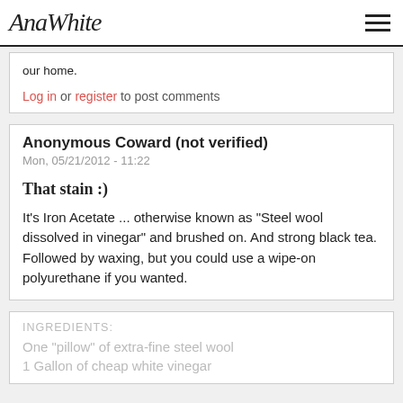AnaWhite
our home.
Log in or register to post comments
Anonymous Coward (not verified)
Mon, 05/21/2012 - 11:22
That stain :)
It's Iron Acetate ... otherwise known as "Steel wool dissolved in vinegar" and brushed on. And strong black tea. Followed by waxing, but you could use a wipe-on polyurethane if you wanted.
INGREDIENTS:
One "pillow" of extra-fine steel wool
1 Gallon of cheap white vinegar